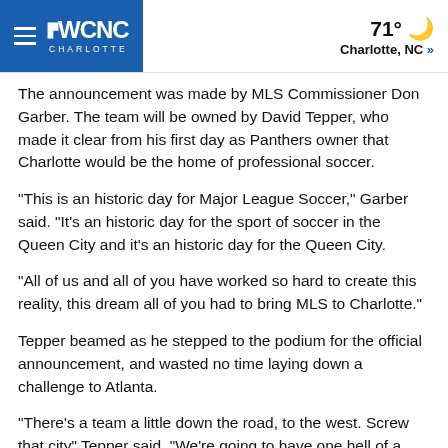WCNC Charlotte | 71° Charlotte, NC »
The announcement was made by MLS Commissioner Don Garber. The team will be owned by David Tepper, who made it clear from his first day as Panthers owner that Charlotte would be the home of professional soccer.
"This is an historic day for Major League Soccer," Garber said. "It's an historic day for the sport of soccer in the Queen City and it's an historic day for the Queen City.
"All of us and all of you have worked so hard to create this reality, this dream all of you had to bring MLS to Charlotte."
Tepper beamed as he stepped to the podium for the official announcement, and wasted no time laying down a challenge to Atlanta.
"There's a team a little down the road, to the west. Screw that city" Tepper said. "We're going to have one hell of a rivalry. I'm counting on you [the fans] and we're going to get